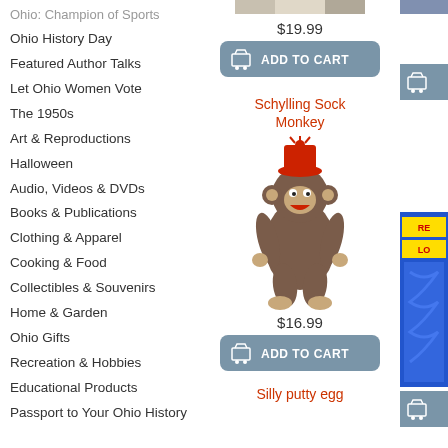Ohio: Champion of Sports
Ohio History Day
Featured Author Talks
Let Ohio Women Vote
The 1950s
Art & Reproductions
Halloween
Audio, Videos & DVDs
Books & Publications
Clothing & Apparel
Cooking & Food
Collectibles & Souvenirs
Home & Garden
Ohio Gifts
Recreation & Hobbies
Educational Products
Passport to Your Ohio History
$19.99
[Figure (screenshot): Add to Cart button with shopping cart icon, gray-blue rounded rectangle]
Schylling Sock Monkey
[Figure (photo): Schylling Sock Monkey stuffed animal toy with red hat]
$16.99
[Figure (screenshot): Add to Cart button with shopping cart icon, gray-blue rounded rectangle]
Silly putty egg
[Figure (photo): Partial image of a product on right side - blue rope/loom package]